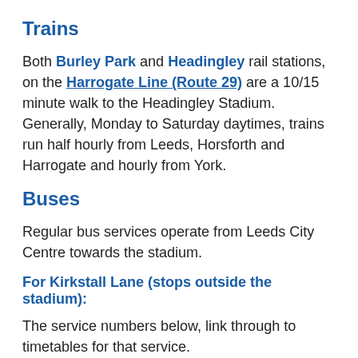Trains
Both Burley Park and Headingley rail stations, on the Harrogate Line (Route 29) are a 10/15 minute walk to the Headingley Stadium. Generally, Monday to Saturday daytimes, trains run half hourly from Leeds, Horsforth and Harrogate and hourly from York.
Buses
Regular bus services operate from Leeds City Centre towards the stadium.
For Kirkstall Lane (stops outside the stadium):
The service numbers below, link through to timetables for that service.
Headingley line services 19 and 19A run to and from Leeds City Centre - Leeds Rail Station Interchange